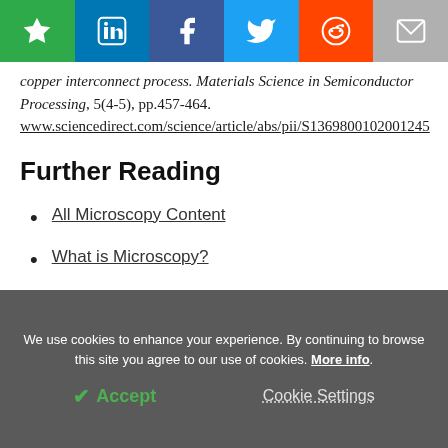[Figure (screenshot): Social sharing toolbar with bookmark (green), LinkedIn (blue), Facebook (dark blue), Twitter (light blue), Reddit (orange), and email (gray) buttons]
copper interconnect process. Materials Science in Semiconductor Processing, 5(4-5), pp.457-464. www.sciencedirect.com/science/article/abs/pii/S1369800102001245
Further Reading
All Microscopy Content
What is Microscopy?
We use cookies to enhance your experience. By continuing to browse this site you agree to our use of cookies. More info.
Accept   Cookie Settings